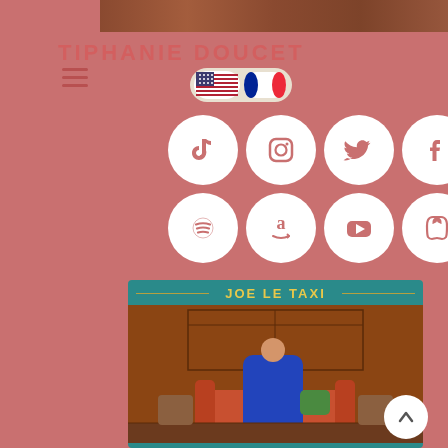[Figure (photo): Top decorative photo strip showing warm-toned background]
TIPHANIE DOUCET
[Figure (infographic): Hamburger/menu icon with three horizontal lines]
[Figure (infographic): Language toggle switch showing US flag and French flag]
[Figure (infographic): Grid of 8 social media and streaming platform icons: TikTok, Instagram, Twitter, Facebook, Spotify, Amazon, YouTube, Apple Music]
[Figure (photo): Album card for 'Joe Le Taxi' showing a woman in a blue outfit sitting on an orange sofa in an art-deco style room, set on a teal background with the album title in gold text]